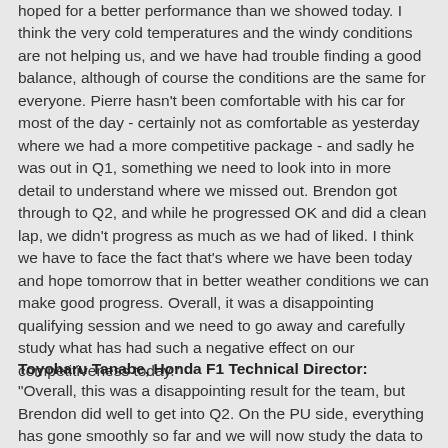hoped for a better performance than we showed today. I think the very cold temperatures and the windy conditions are not helping us, and we have had trouble finding a good balance, although of course the conditions are the same for everyone. Pierre hasn't been comfortable with his car for most of the day - certainly not as comfortable as yesterday where we had a more competitive package - and sadly he was out in Q1, something we need to look into in more detail to understand where we missed out. Brendon got through to Q2, and while he progressed OK and did a clean lap, we didn't progress as much as we had of liked. I think we have to face the fact that's where we have been today and hope tomorrow that in better weather conditions we can make good progress. Overall, it was a disappointing qualifying session and we need to go away and carefully study what has had such a negative effect on our competitiveness today."
Toyoharu Tanabe, Honda F1 Technical Director: "Overall, this was a disappointing result for the team, but Brendon did well to get into Q2. On the PU side, everything has gone smoothly so far and we will now study the data to ensure we have a good race tomorrow."